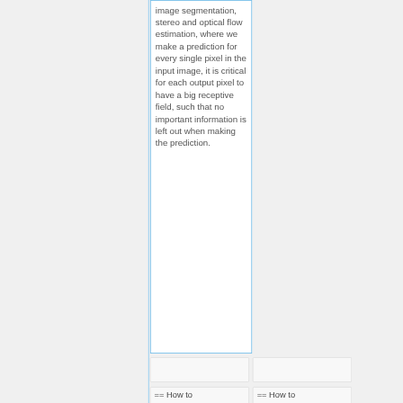image segmentation, stereo and optical flow estimation, where we make a prediction for every single pixel in the input image, it is critical for each output pixel to have a big receptive field, such that no important information is left out when making the prediction.
== How to
== How to